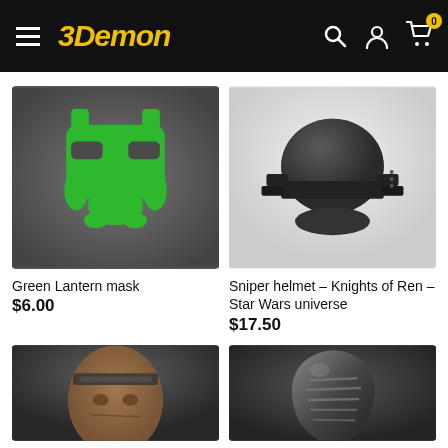3Demon — navigation header with hamburger menu, logo, search, account, and cart (0 items)
[Figure (photo): 3D render of a Green Lantern mask in bright green on dark gray background]
Green Lantern mask
$6.00
[Figure (photo): 3D render of a dark gray Sniper helmet (Knights of Ren, Star Wars universe) on white background]
Sniper helmet – Knights of Ren – Star Wars universe
$17.50
[Figure (photo): 3D render of a masked humanoid head with headband, brown tones, dark background — partial bottom crop]
[Figure (photo): 3D render of a metallic dark face mask with rib-like details, dark background — partial bottom crop]